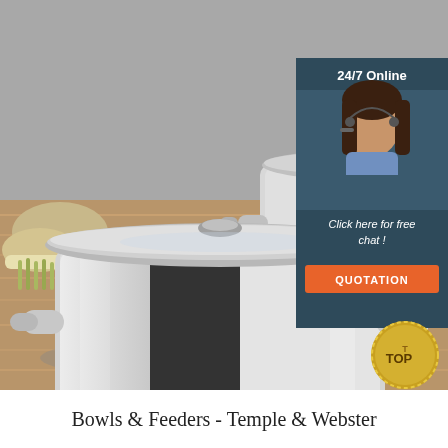[Figure (photo): Two large stainless steel stock pots with glass lids on a wooden surface, with vegetables visible on the left. An overlay in the top-right shows a customer service agent with '24/7 Online' text, 'Click here for free chat!' message, and an orange QUOTATION button. A gold 'TOP' button is visible at bottom-right.]
Bowls & Feeders - Temple & Webster